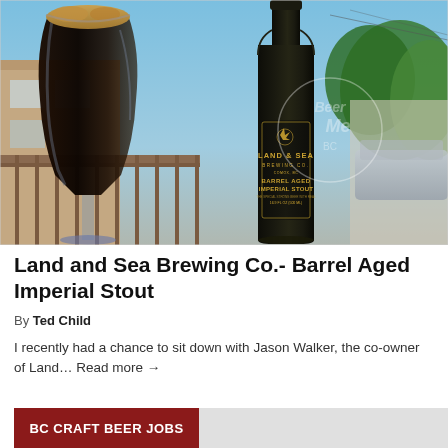[Figure (photo): Photo of a glass of dark stout beer and a Land & Sea Brewing Co. Barrel Aged Imperial Stout bottle, taken outdoors on a sunny day with a house and greenery in the background. A 'Beer Me BC' watermark is visible on the right side.]
Land and Sea Brewing Co.- Barrel Aged Imperial Stout
By Ted Child
I recently had a chance to sit down with Jason Walker, the co-owner of Land… Read more →
BC CRAFT BEER JOBS